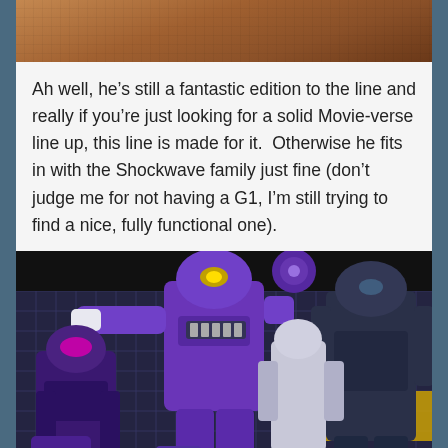[Figure (photo): Top portion of a photo showing a wooden surface with brown wood grain texture, cropped at the bottom edge.]
Ah well, he’s still a fantastic edition to the line and really if you’re just looking for a solid Movie-verse line up, this line is made for it.  Otherwise he fits in with the Shockwave family just fine (don’t judge me for not having a G1, I’m still trying to find a nice, fully functional one).
[Figure (photo): A photo of multiple purple and dark Transformers action figures (Shockwave family) posed together against a grid/shelf background. The central large figure is a purple Shockwave robot. Smaller purple and dark blue/grey robots are arranged around it.]